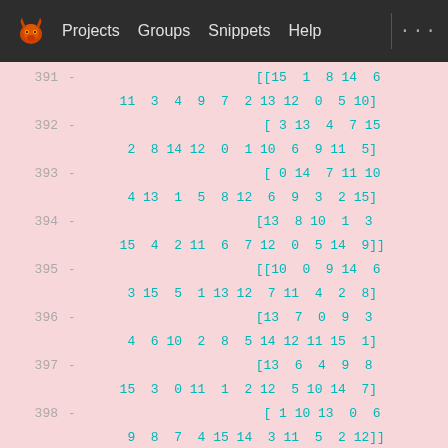Projects  Groups  Snippets  Help  ...
391  -  [[15  1  8 14  6
       11  3  4  9  7  2 13 12  0  5 10]
392  -  [ 3 13  4  7 15
        2  8 14 12  0  1 10  6  9 11  5]
393  -  [ 0 14  7 11 10
        4 13  1  5  8 12  6  9  3  2 15]
394  -  [13  8 10  1  3
       15  4  2 11  6  7 12  0  5 14  9]]
395  -  [[10  0  9 14  6
        3 15  5  1 13 12  7 11  4  2  8]
396  -  [13  7  0  9  3
        4  6 10  2  8  5 14 12 11 15  1]
397  -  [13  6  4  9  8
       15  3  0 11  1  2 12  5 10 14  7]
398  -  [ 1 10 13  0  6
        9  8  7  4 15 14  3 11  5  2 12]]
399  -  [[ 7 13 14  3  0
        6  9 10  1  2  8  5 11 12  4 15]
400  -  [13  8 11  5  6
       15  0  3  4  7  2 12  1 10 14  9]